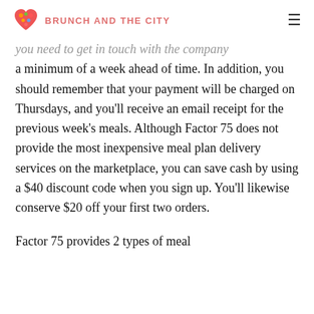BRUNCH AND THE CITY
you need to get in touch with the company a minimum of a week ahead of time. In addition, you should remember that your payment will be charged on Thursdays, and you'll receive an email receipt for the previous week's meals. Although Factor 75 does not provide the most inexpensive meal plan delivery services on the marketplace, you can save cash by using a $40 discount code when you sign up. You'll likewise conserve $20 off your first two orders.
Factor 75 provides 2 types of meal